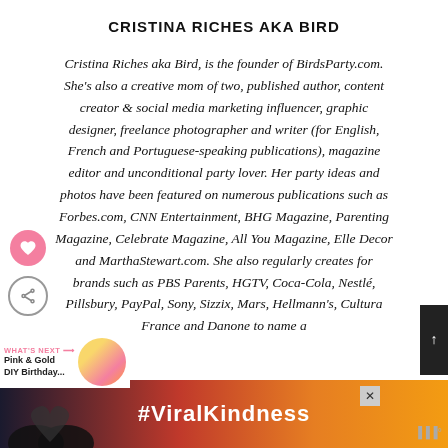CRISTINA RICHES AKA BIRD
Cristina Riches aka Bird, is the founder of BirdsParty.com. She's also a creative mom of two, published author, content creator & social media marketing influencer, graphic designer, freelance photographer and writer (for English, French and Portuguese-speaking publications), magazine editor and unconditional party lover. Her party ideas and photos have been featured on numerous publications such as Forbes.com, CNN Entertainment, BHG Magazine, Parenting Magazine, Celebrate Magazine, All You Magazine, Elle Decor and MarthaStewart.com. She also regularly creates for brands such as PBS Parents, HGTV, Coca-Cola, Nestlé, Pillsbury, PayPal, Sony, Sizzix, Mars, Hellmann's, Cultura France and Danone to name a
[Figure (other): What's Next teaser thumbnail with pink/gold circular image and text 'Pink & Gold DIY Birthday...']
[Figure (other): Advertisement banner with heart silhouette and #ViralKindness text]